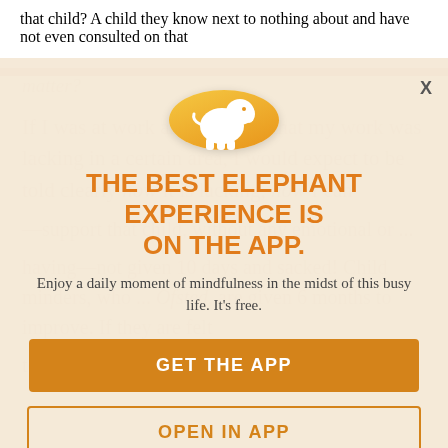that child? A child they know next to nothing about and have not even consulted on that
[Figure (infographic): Elephant app promotion modal overlay with orange elephant logo in circle, title, subtitle, and two buttons]
THE BEST ELEPHANT EXPERIENCE IS ON THE APP.
Enjoy a daily moment of mindfulness in the midst of this busy life. It's free.
GET THE APP
OPEN IN APP